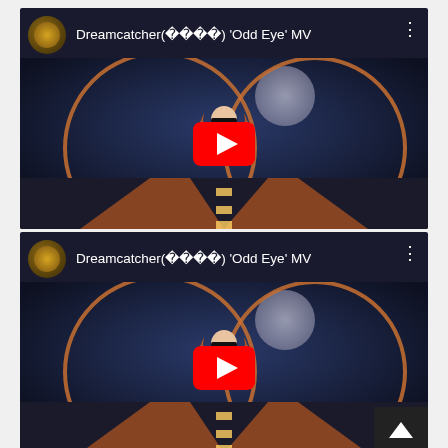[Figure (screenshot): YouTube video thumbnail for Dreamcatcher(드림캐쳐) 'Odd Eye' MV - first instance. Shows a woman with a blindfold standing on a runway with glowing rings and moon in background. Large red YouTube play button overlay. Channel icon and title visible in header.]
[Figure (screenshot): YouTube video thumbnail for Dreamcatcher(드림캐쳐) 'Odd Eye' MV - second instance (duplicate). Same scene. A scroll-to-top button is visible in the bottom-right corner.]